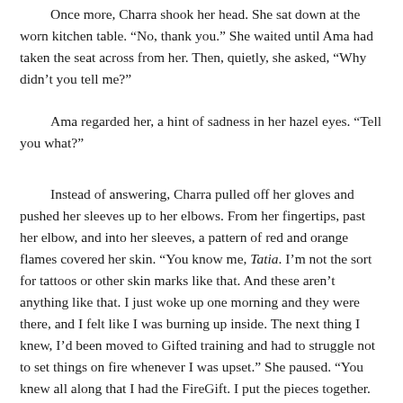Once more, Charra shook her head. She sat down at the worn kitchen table. “No, thank you.” She waited until Ama had taken the seat across from her. Then, quietly, she asked, “Why didn’t you tell me?”
Ama regarded her, a hint of sadness in her hazel eyes. “Tell you what?”
Instead of answering, Charra pulled off her gloves and pushed her sleeves up to her elbows. From her fingertips, past her elbow, and into her sleeves, a pattern of red and orange flames covered her skin. “You know me, Tatia. I’m not the sort for tattoos or other skin marks like that. And these aren’t anything like that. I just woke up one morning and they were there, and I felt like I was burning up inside. The next thing I knew, I’d been moved to Gifted training and had to struggle not to set things on fire whenever I was upset.” She paused. “You knew all along that I had the FireGift. I put the pieces together. That’s why you let me join the war, even though I was just barely old enough to be a soldier. That’s why I overheard you telling the recruiters to keep an eye on me for any unusual behaviors or any odd fires around”